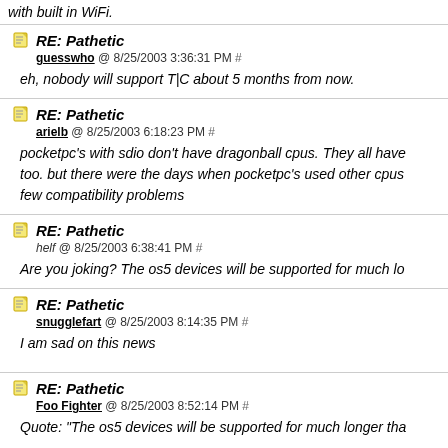with built in WiFi.
RE: Pathetic
guesswho @ 8/25/2003 3:36:31 PM #
eh, nobody will support T|C about 5 months from now.
RE: Pathetic
arielb @ 8/25/2003 6:18:23 PM #
pocketpc's with sdio don't have dragonball cpus. They all have too. but there were the days when pocketpc's used other cpus few compatibility problems
RE: Pathetic
helf @ 8/25/2003 6:38:41 PM #
Are you joking? The os5 devices will be supported for much lo
RE: Pathetic
snugglefart @ 8/25/2003 8:14:35 PM #
I am sad on this news
RE: Pathetic
Foo Fighter @ 8/25/2003 8:52:14 PM #
Quote: "The os5 devices will be supported for much longer tha